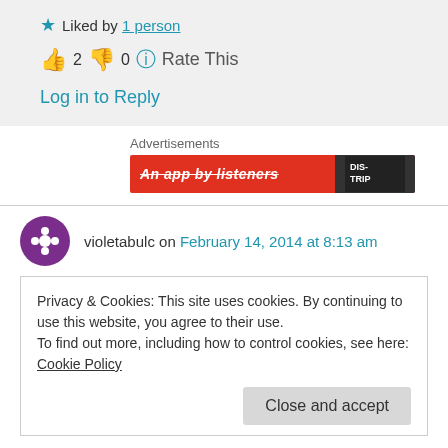★ Liked by 1 person
👍 2 👎 0 ℹ Rate This
Log in to Reply
Advertisements
[Figure (photo): Red advertisement banner with text 'An app by listeners' and a logo on the right]
violetabulc on February 14, 2014 at 8:13 am
Privacy & Cookies: This site uses cookies. By continuing to use this website, you agree to their use.
To find out more, including how to control cookies, see here: Cookie Policy
Close and accept
experts from different fields (physics, math